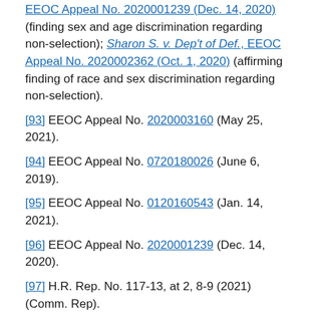EEOC Appeal No. 2020001239 (Dec. 14, 2020) (finding sex and age discrimination regarding non-selection); Sharon S. v. Dep't of Def., EEOC Appeal No. 2020002362 (Oct. 1, 2020) (affirming finding of race and sex discrimination regarding non-selection).
[93] EEOC Appeal No. 2020003160 (May 25, 2021).
[94] EEOC Appeal No. 0720180026 (June 6, 2019).
[95] EEOC Appeal No. 0120160543 (Jan. 14, 2021).
[96] EEOC Appeal No. 2020001239 (Dec. 14, 2020).
[97] H.R. Rep. No. 117-13, at 2, 8-9 (2021) (Comm. Rep).
[98] Id. at 9.
[99] Id. at 15.
[100] Id. at 40.